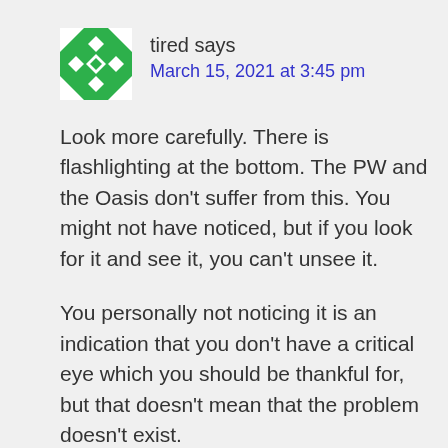[Figure (illustration): Green and white geometric avatar icon with star/cross pattern]
tired says
March 15, 2021 at 3:45 pm
Look more carefully. There is flashlighting at the bottom. The PW and the Oasis don't suffer from this. You might not have noticed, but if you look for it and see it, you can't unsee it.
You personally not noticing it is an indication that you don't have a critical eye which you should be thankful for, but that doesn't mean that the problem doesn't exist.
Reply